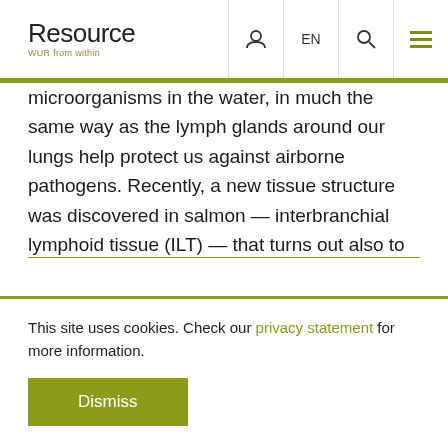Resource – WUR from within
microorganisms in the water, in much the same way as the lymph glands around our lungs help protect us against airborne pathogens. Recently, a new tissue structure was discovered in salmon — interbranchial lymphoid tissue (ILT) — that turns out also to play an important role.
In a new publication in Biology, Wiegertjes and his
This site uses cookies. Check our privacy statement for more information.